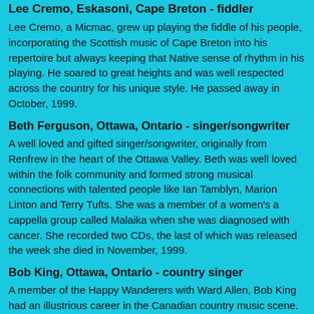Lee Cremo, Eskasoni, Cape Breton - fiddler
Lee Cremo, a Micmac, grew up playing the fiddle of his people, incorporating the Scottish music of Cape Breton into his repertoire but always keeping that Native sense of rhythm in his playing. He soared to great heights and was well respected across the country for his unique style. He passed away in October, 1999.
Beth Ferguson, Ottawa, Ontario - singer/songwriter
A well loved and gifted singer/songwriter, originally from Renfrew in the heart of the Ottawa Valley. Beth was well loved within the folk community and formed strong musical connections with talented people like Ian Tamblyn, Marion Linton and Terry Tufts. She was a member of a women's a cappella group called Malaika when she was diagnosed with cancer. She recorded two CDs, the last of which was released the week she died in November, 1999.
Bob King, Ottawa, Ontario - country singer
A member of the Happy Wanderers with Ward Allen, Bob King had an illustrious career in the Canadian country music scene. He wrote some great songs about this country, recording them on close to a dozen albums for the Banff label in the 1950s and 60s. His tribute to Ward Allen, after the fiddler's death, was warmly received for its sincerity. After the Wanderers he drifted into